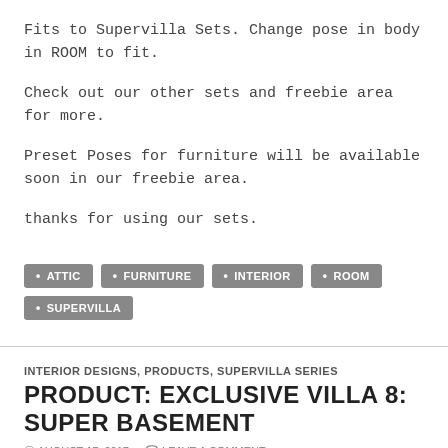Fits to Supervilla Sets. Change pose in body in ROOM to fit.
Check out our other sets and freebie area for more.
Preset Poses for furniture will be available soon in our freebie area.
thanks for using our sets.
ATTIC
FURNITURE
INTERIOR
ROOM
SUPERVILLA
INTERIOR DESIGNS, PRODUCTS, SUPERVILLA SERIES
PRODUCT: EXCLUSIVE VILLA 8: SUPER BASEMENT
AUGUST 17, 2017   LEAVE A COMMENT